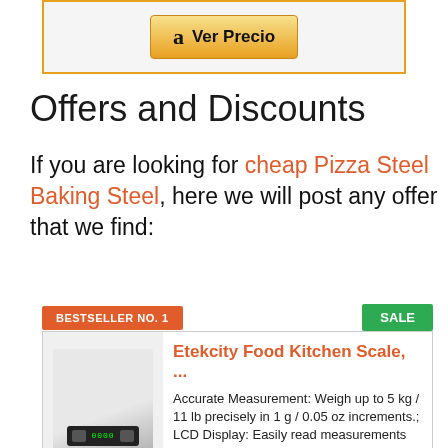[Figure (other): Amazon 'Ver Precio' button inside a bordered box]
Offers and Discounts
If you are looking for cheap Pizza Steel Baking Steel, here we will post any offer that we find:
[Figure (other): Bestseller No. 1 badge and SALE badge above product card for Etekcity Food Kitchen Scale]
Etekcity Food Kitchen Scale, ...
Accurate Measurement: Weigh up to 5 kg / 11 lb precisely in 1 g / 0.05 oz increments.; LCD Display: Easily read measurements on the backlit LCD display.